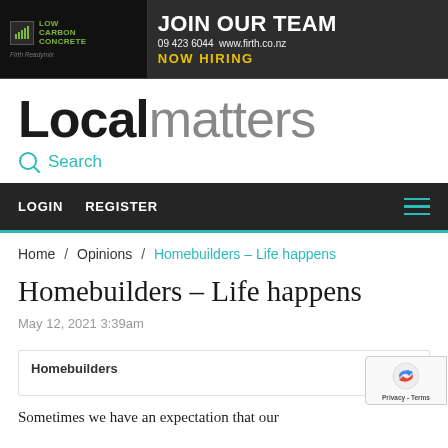[Figure (infographic): Advertisement banner for Firth Readymix: LOW CARBON CONCRETE with JOIN OUR TEAM text, 09 423 6044 www.firth.co.nz, NOW HIRING]
Localmatters
Search
LOGIN   REGISTER
Home / Opinions / Homebuilders – Life happens
Homebuilders – Life happens
May 12, 2021 3:39am
Homebuilders
Sometimes we have an expectation that our